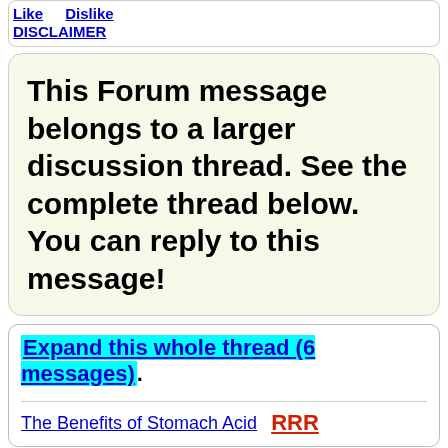Like   Dislike
DISCLAIMER
This Forum message belongs to a larger discussion thread. See the complete thread below. You can reply to this message!
Expand this whole thread (6 messages)
The Benefits of Stomach Acid   RRR